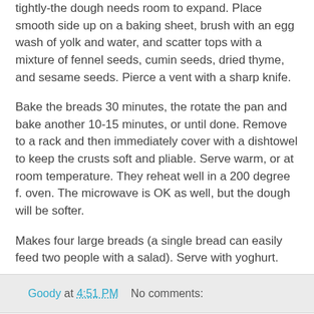tightly-the dough needs room to expand. Place smooth side up on a baking sheet, brush with an egg wash of yolk and water, and scatter tops with a mixture of fennel seeds, cumin seeds, dried thyme, and sesame seeds. Pierce a vent with a sharp knife.
Bake the breads 30 minutes, the rotate the pan and bake another 10-15 minutes, or until done. Remove to a rack and then immediately cover with a dishtowel to keep the crusts soft and pliable. Serve warm, or at room temperature. They reheat well in a 200 degree f. oven. The microwave is OK as well, but the dough will be softer.
Makes four large breads (a single bread can easily feed two people with a salad). Serve with yoghurt.
Goody at 4:51 PM    No comments:
Schnapps